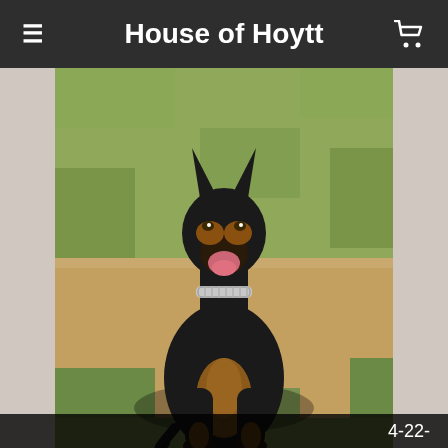House of Hoytt
[Figure (photo): A black and tan Doberman Pinscher dog sitting on grass outdoors wearing a silver chain collar, mouth open, looking upward. Video frame with timestamp '4-22-' visible in bottom right corner.]